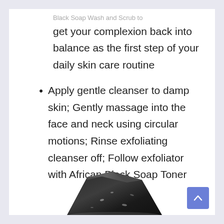Black Soap Wash and Scrub to get your complexion back into balance as the first step of your daily skin care routine
Apply gentle cleanser to damp skin; Gently massage into the face and neck using circular motions; Rinse exfoliating cleanser off; Follow exfoliator with African Black Soap Toner
[Figure (photo): Partial image of a dark/black piece of African Black Soap at the bottom of the page]